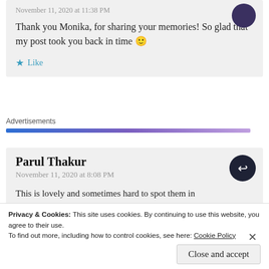November 11, 2020 at 11:38 PM
Thank you Monika, for sharing your memories! So glad that my post took you back in time 🙂
Like
Advertisements
Parul Thakur
November 11, 2020 at 8:08 PM
This is lovely and sometimes hard to spot them in
Privacy & Cookies: This site uses cookies. By continuing to use this website, you agree to their use.
To find out more, including how to control cookies, see here: Cookie Policy
Close and accept